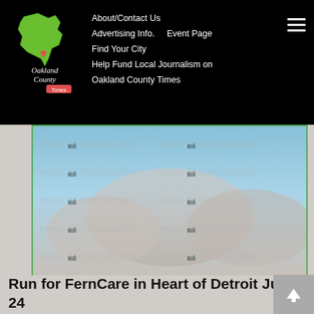Oakland County Times — About/Contact Us | Advertising Info. | Event Page | Find Your City | Help Fund Local Journalism on Oakland County Times
[Figure (photo): Placeholder image with blurred sky and clouds background, watermarked with IMAGE PLACEHOLDER text in a grid pattern]
Run for FernCare in Heart of Detroit June 24